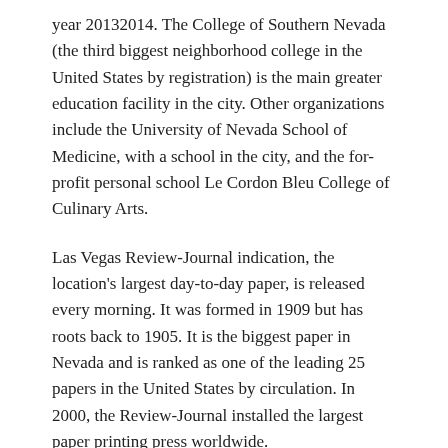year 20132014. The College of Southern Nevada (the third biggest neighborhood college in the United States by registration) is the main greater education facility in the city. Other organizations include the University of Nevada School of Medicine, with a school in the city, and the for-profit personal school Le Cordon Bleu College of Culinary Arts.
Las Vegas Review-Journal indication, the location's largest day-to-day paper, is released every morning. It was formed in 1909 but has roots back to 1905. It is the biggest paper in Nevada and is ranked as one of the leading 25 papers in the United States by circulation. In 2000, the Review-Journal installed the largest paper printing press worldwide.
Getting My Las Vegas Nevada To Work...